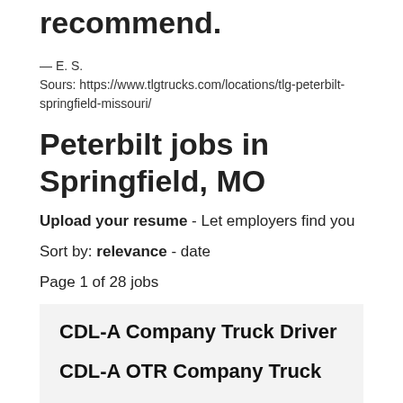recommend.
— E. S.
Sours: https://www.tlgtrucks.com/locations/tlg-peterbilt-springfield-missouri/
Peterbilt jobs in Springfield, MO
Upload your resume - Let employers find you
Sort by: relevance - date
Page 1 of 28 jobs
CDL-A Company Truck Driver
CDL-A OTR Company Truck